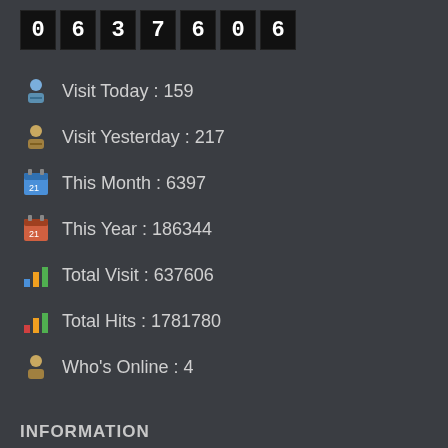[Figure (other): Digital counter display showing 0637606]
Visit Today : 159
Visit Yesterday : 217
This Month : 6397
This Year : 186344
Total Visit : 637606
Total Hits : 1781780
Who's Online : 4
INFORMATION
About Us
Privacy Policy
Terms and Conditions